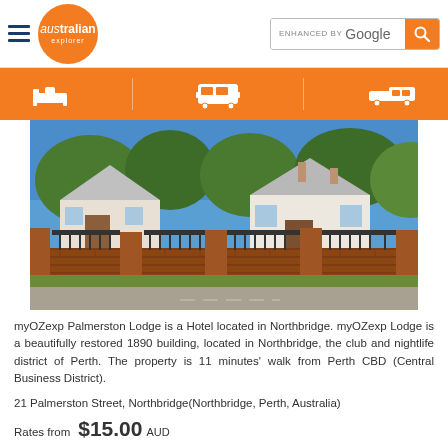australian explorer — ENHANCED BY Google [search]
[Figure (logo): Australian Explorer logo with hamburger menu, orange circle with 'australian explorer' text, and Google enhanced search bar]
[Figure (infographic): Orange navigation bar with three white icons: bed/accommodation, bus/transport, car/transport]
[Figure (photo): Exterior photo of myOZexp Palmerston Lodge, a restored 1890 building in Northbridge, Perth. Shows heritage houses behind a brick fence with iron gate.]
myOZexp Palmerston Lodge is a Hotel located in Northbridge. myOZexp Lodge is a beautifully restored 1890 building, located in Northbridge, the club and nightlife district of Perth. The property is 11 minutes' walk from Perth CBD (Central Business District).
21 Palmerston Street, Northbridge(Northbridge, Perth, Australia)
Rates from $15.00 AUD
View Rates/Book